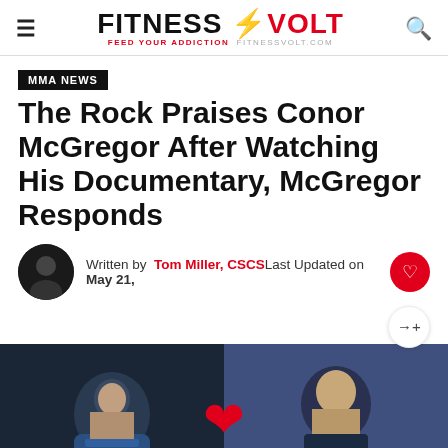FITNESS VOLT — FEED YOUR ADDICTION FITNESSVOLT.COM
MMA NEWS
The Rock Praises Conor McGregor After Watching His Documentary, McGregor Responds
Written by Tom Miller, CSCS Last Updated on May 21,
[Figure (photo): Split image showing Conor McGregor on the left blowing a kiss, and Dwayne 'The Rock' Johnson on the right smiling, with a red heart in the center]